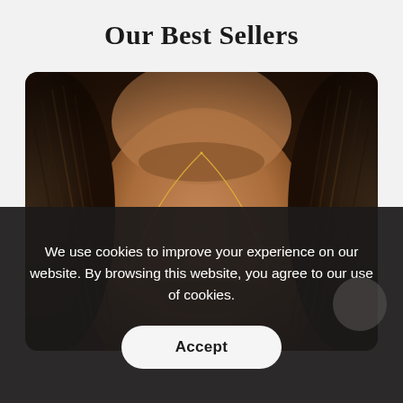Our Best Sellers
[Figure (photo): Close-up photo of a woman's neck and collarbone area wearing a delicate gold chain necklace, with braided hair visible on both sides, warm brown skin tones, dark background.]
We use cookies to improve your experience on our website. By browsing this website, you agree to our use of cookies.
Accept